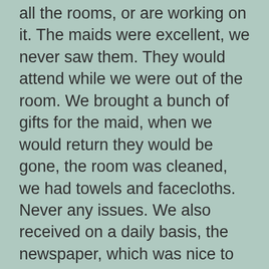all the rooms, or are working on it. The maids were excellent, we never saw them. They would attend while we were out of the room. We brought a bunch of gifts for the maid, when we would return they would be gone, the room was cleaned, we had towels and facecloths. Never any issues. We also received on a daily basis, the newspaper, which was nice to read in the afternoon on the patio with a nice cold Presidente from your fridge!!! We had pop, beer water and chocolate bars.
Restaurants and Bars:
I believe we did them all. The seafood was